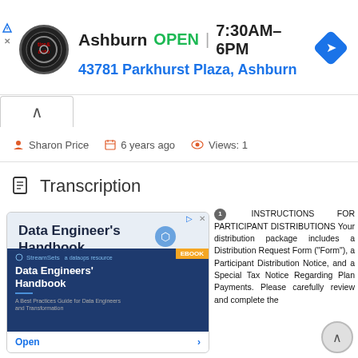[Figure (screenshot): Advertisement banner: Virginia Tire & Auto logo, Ashburn OPEN 7:30AM–6PM, 43781 Parkhurst Plaza, Ashburn, navigation icon]
Sharon Price   6 years ago   Views: 1
Transcription
[Figure (screenshot): Advertisement for Data Engineer's Handbook by StreamSets with Open button]
1 INSTRUCTIONS FOR PARTICIPANT DISTRIBUTIONS Your distribution package includes a Distribution Request Form ("Form"), a Participant Distribution Notice, and a Special Tax Notice Regarding Plan Payments. Please carefully review and complete the